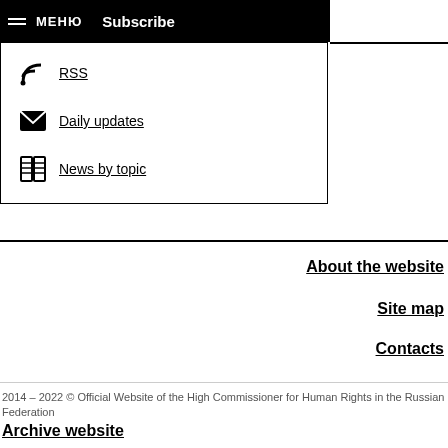MENU Subscribe
RSS
Daily updates
News by topic
About the website
Site map
Contacts
2014 – 2022 © Official Website of the High Commissioner for Human Rights in the Russian Federation
Archive website